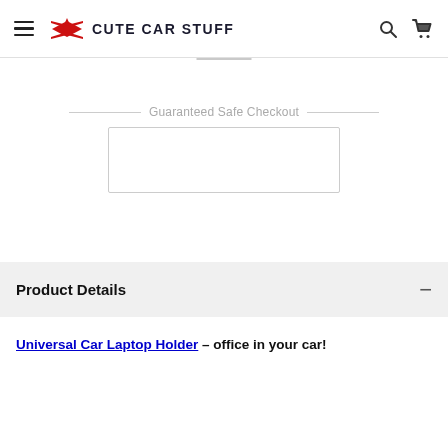CUTE CAR STUFF
Guaranteed Safe Checkout
Product Details
Universal Car Laptop Holder – office in your car!